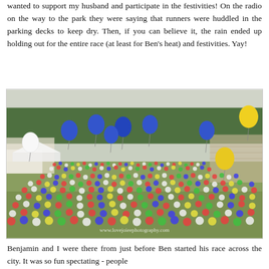wanted to support my husband and participate in the festivities! On the radio on the way to the park they were saying that runners were huddled in the parking decks to keep dry. Then, if you can believe it, the rain ended up holding out for the entire race (at least for Ben's heat) and festivities. Yay!
[Figure (photo): Aerial/wide view of a large outdoor race event with hundreds of runners and spectators gathered on a grassy field. Colorful balloons (blue, yellow, white) float above the crowd. Trees line the background. Watermark reads www.lovejoieephotography.com]
Benjamin and I were there from just before Ben started his race across the city. It was so fun spectating - people